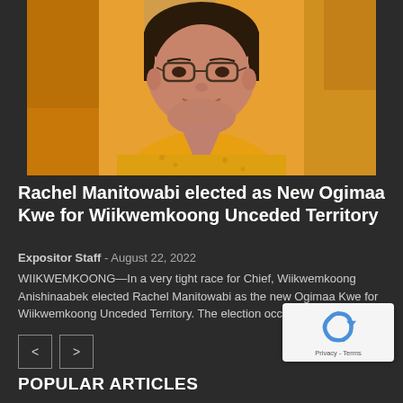[Figure (photo): Portrait photo of Rachel Manitowabi, a woman wearing glasses and a yellow floral top, smiling, with a blurred background]
Rachel Manitowabi elected as New Ogimaa Kwe for Wiikwemkoong Unceded Territory
Expositor Staff - August 22, 2022
WIIKWEMKOONG—In a very tight race for Chief, Wiikwemkoong Anishinaabek elected Rachel Manitowabi as the new Ogimaa Kwe for Wiikwemkoong Unceded Territory. The election occurred...
[Figure (other): Navigation buttons with left and right chevrons]
[Figure (other): Google reCAPTCHA badge with Privacy and Terms links]
POPULAR ARTICLES